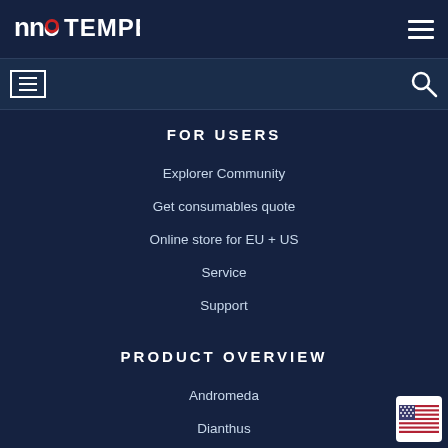[Figure (logo): NanoTemper logo in white on dark navy background]
Navigation menu with hamburger icon and search icon
FOR USERS
Explorer Community
Get consumables quote
Online store for EU + US
Service
Support
PRODUCT OVERVIEW
Andromeda
Dianthus